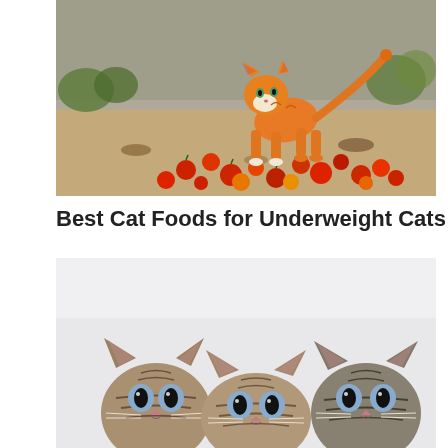[Figure (photo): An orange/ginger kitten standing outdoors on sandy ground surrounded by scattered red and orange tomatoes and fallen leaves, with green plants and a concrete wall in the background.]
Best Cat Foods for Underweight Cats
[Figure (photo): Three tabby kittens peeking up from the bottom of the frame against a light grey/white background, all looking directly at the camera with wide eyes.]